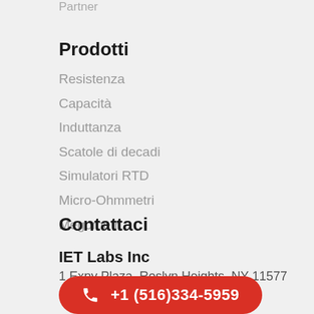Partner
Prodotti
Resistenza
Capacità
Induttanza
Scatole di decadi
Simulatori RTD
Micro-Ohmmetri
Megometri
Contattaci
IET Labs Inc
1 Expy Plaza, Roslyn Heights, NY 11577
+1 (516)334-5959